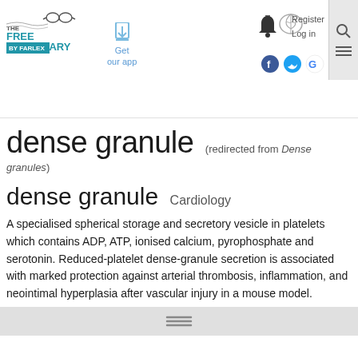The Free Dictionary by Farlex — Get our app — Register Log in — Social icons — Search
dense granule (redirected from Dense granules)
dense granule   Cardiology
A specialised spherical storage and secretory vesicle in platelets which contains ADP, ATP, ionised calcium, pyrophosphate and serotonin. Reduced-platelet dense-granule secretion is associated with marked protection against arterial thrombosis, inflammation, and neointimal hyperplasia after vascular injury in a mouse model.